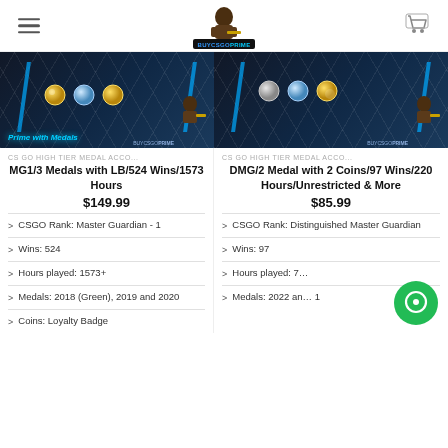BUYCSGO PRIME (logo and navigation header)
[Figure (screenshot): CS GO Prime with Medals product image showing medals and character on dark hexagonal background]
[Figure (screenshot): CS GO High Tier Medal account product image showing medals on dark hexagonal background]
CS GO HIGH TIER MEDAL ACCO...
MG1/3 Medals with LB/524 Wins/1573 Hours
$149.99
CSGO Rank: Master Guardian - 1
Wins: 524
Hours played: 1573+
Medals: 2018 (Green), 2019 and 2020
Coins: Loyalty Badge
CS GO HIGH TIER MEDAL ACCO...
DMG/2 Medal with 2 Coins/97 Wins/220 Hours/Unrestricted & More
$85.99
CSGO Rank: Distinguished Master Guardian
Wins: 97
Hours played: 7…
Medals: 2022 an… 1